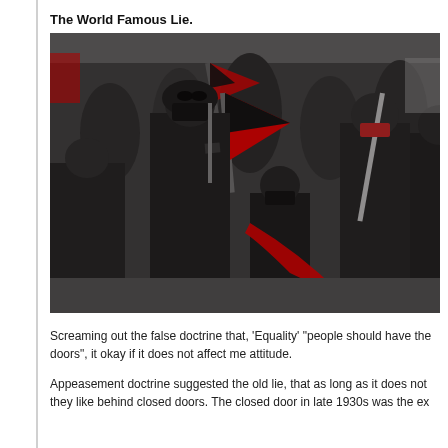The World Famous Lie.
[Figure (photo): A group of masked protesters dressed in black clothing carrying red and black flags, marching in the street.]
Screaming out the false doctrine that, ‘Equality’ “people should have the doors”, it okay if it does not affect me attitude.
Appeasement doctrine suggested the old lie, that as long as it does not they like behind closed doors. The closed door in late 1930s was the ex